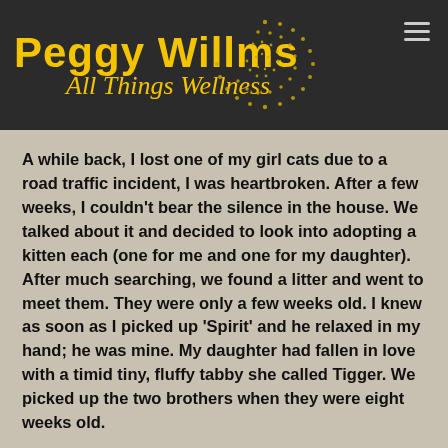[Figure (logo): Peggy Willms All Things Wellness logo with golden text and decorative swirl/dots on dark background, with hamburger menu icon in top right]
A while back, I lost one of my girl cats due to a road traffic incident, I was heartbroken. After a few weeks, I couldn't bear the silence in the house. We talked about it and decided to look into adopting a kitten each (one for me and one for my daughter). After much searching, we found a litter and went to meet them. They were only a few weeks old. I knew as soon as I picked up 'Spirit' and he relaxed in my hand; he was mine. My daughter had fallen in love with a timid tiny, fluffy tabby she called Tigger. We picked up the two brothers when they were eight weeks old.